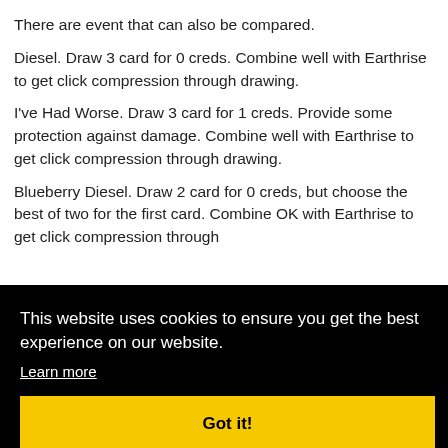There are event that can also be compared.
Diesel. Draw 3 card for 0 creds. Combine well with Earthrise to get click compression through drawing.
I've Had Worse. Draw 3 card for 1 creds. Provide some protection against damage. Combine well with Earthrise to get click compression through drawing.
Blueberry Diesel. Draw 2 card for 0 creds, but choose the best of two for the first card. Combine OK with Earthrise to get click compression through
eds, vith awing.
the it is well worth it. Using cards that allow you to install it
[Figure (screenshot): Cookie consent banner overlay with black background. Text reads: 'This website uses cookies to ensure you get the best experience on our website.' with a 'Learn more' underlined link and a yellow 'Got it!' button.]